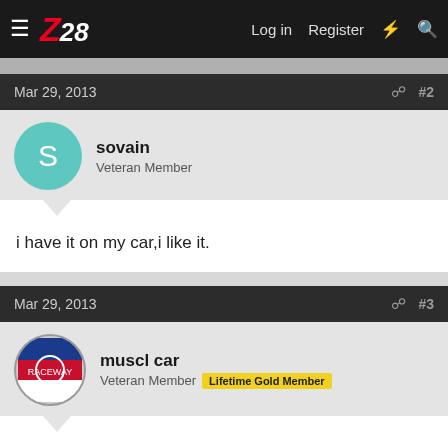Z28 — Log in   Register
Mar 29, 2013   #2
sovain
Veteran Member
i have it on my car,i like it.
Mar 29, 2013   #3
muscl car
Veteran Member   Lifetime Gold Member
Car Craft did a open plenum intake manifold test for their 7/13 magazine and the Team G was one of the intakes tested